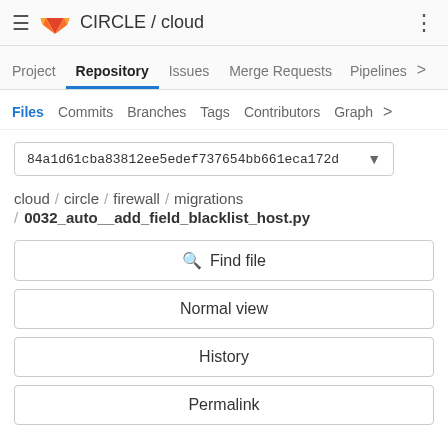CIRCLE / cloud
Project  Repository  Issues  Merge Requests  Pipelines >
Files  Commits  Branches  Tags  Contributors  Graph  >
84a1d61cba83812ee5edef737654bb661eca172d
cloud / circle / firewall / migrations
/ 0032_auto__add_field_blacklist_host.py
Find file
Normal view
History
Permalink